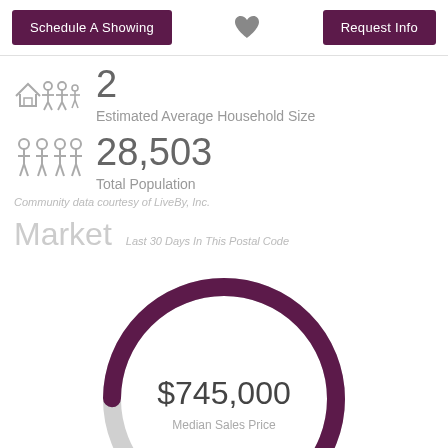Schedule A Showing | [heart] | Request Info
2
Estimated Average Household Size
28,503
Total Population
Community data courtesy of LiveBy, Inc.
Market
Last 30 Days In This Postal Code
[Figure (donut-chart): Donut chart showing $745,000 Median Sales Price, approximately 85% arc filled in dark purple, remainder in light gray]